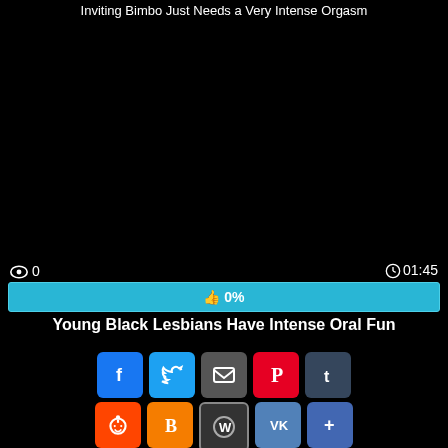Inviting Bimbo Just Needs a Very Intense Orgasm
[Figure (other): Black video player area]
0  01:45
👍 0%
Young Black Lesbians Have Intense Oral Fun
[Figure (other): Social share buttons: Facebook, Twitter, Email, Pinterest, Tumblr, Reddit, Blogger, WordPress, VK, Share-more, and scroll-to-top button]